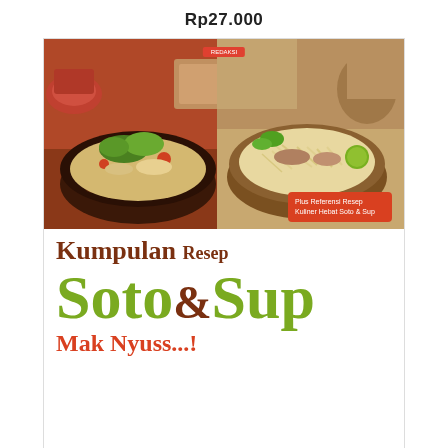Rp27.000
[Figure (photo): Book cover of 'Kumpulan Resep Soto & Sup Mak Nyuss' showing two bowls of Indonesian soup/soto dishes on the top half, with a red badge text on lower right of the photo section, and large stylized text title on the white lower half of the cover.]